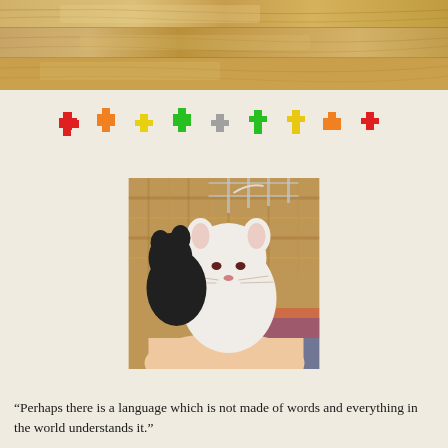[Figure (photo): Photo of a wooden floor/surface, brown wood grain, cropped to top strip]
[Figure (illustration): Row of colorful pixel-art cross/plus shapes in red, orange, yellow, green, gray, green, yellow, orange, red colors]
[Figure (photo): A white rat being held in a human hand, with a black rat visible behind it, sitting in a wicker basket]
“Perhaps there is a language which is not made of words and everything in the world understands it.”